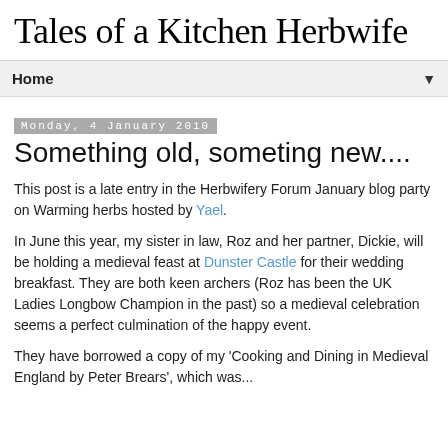Tales of a Kitchen Herbwife
Home
Monday, 4 January 2010
Something old, someting new....
This post is a late entry in the Herbwifery Forum January blog party on Warming herbs hosted by Yael.
In June this year, my sister in law, Roz and her partner, Dickie, will be holding a medieval feast at Dunster Castle for their wedding breakfast. They are both keen archers (Roz has been the UK Ladies Longbow Champion in the past) so a medieval celebration seems a perfect culmination of the happy event.
They have borrowed a copy of my ‘Cooking and Dining in Medieval England by Peter Brears’, which was...